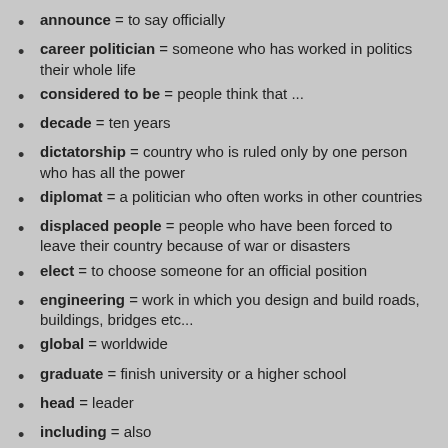announce = to say officially
career politician = someone who has worked in politics their whole life
considered to be = people think that ...
decade = ten years
dictatorship = country who is ruled only by one person who has all the power
diplomat = a politician who often works in other countries
displaced people = people who have been forced to leave their country because of war or disasters
elect = to choose someone for an official position
engineering = work in which you design and build roads, buildings, bridges etc...
global = worldwide
graduate = finish university or a higher school
head = leader
including = also
moderator = someone whose job it is to control a